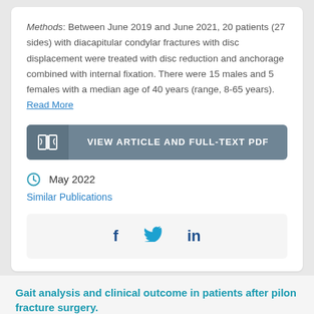Methods: Between June 2019 and June 2021, 20 patients (27 sides) with diacapitular condylar fractures with disc displacement were treated with disc reduction and anchorage combined with internal fixation. There were 15 males and 5 females with a median age of 40 years (range, 8-65 years). Read More
[Figure (other): Button: VIEW ARTICLE AND FULL-TEXT PDF with book icon on left grey panel]
May 2022
Similar Publications
[Figure (other): Social sharing bar with Facebook, Twitter, and LinkedIn icons]
Gait analysis and clinical outcome in patients after pilon fracture surgery.
AUTHORS: